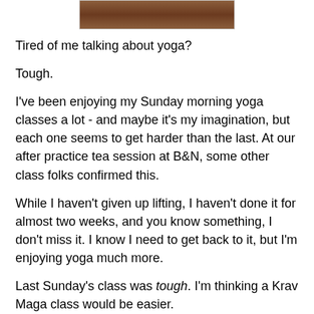[Figure (photo): A partial photo showing what appears to be a brown/warm-toned surface, visible at the top of the page.]
Tired of me talking about yoga?
Tough.
I've been enjoying my Sunday morning yoga classes a lot - and maybe it's my imagination, but each one seems to get harder than the last. At our after practice tea session at B&N, some other class folks confirmed this.
While I haven't given up lifting, I haven't done it for almost two weeks, and you know something, I don't miss it. I know I need to get back to it, but I'm enjoying yoga much more.
Last Sunday's class was tough. I'm thinking a Krav Maga class would be easier.
Mid-way through, the instructor had us attempt Dolphin pose. In certain ways that was the end of class for me.
My arms were covered in sweat and when I had them